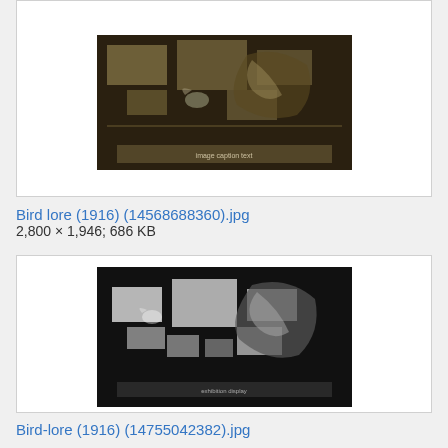[Figure (photo): Black and white photograph showing a museum or exhibition display with text panels and illustrations, sepia-toned, from Bird lore 1916]
Bird lore (1916) (14568688360).jpg
2,800 × 1,946; 686 KB
[Figure (photo): Black and white photograph showing a similar museum or exhibition display with text panels and wild animal illustrations, darker tones, from Bird-lore 1916]
Bird-lore (1916) (14755042382).jpg
2,768 × 1,930; 919 KB
[Figure (photo): Partial view of another dark photograph, appears to show a bird or nature scene, bottom of page cut off]